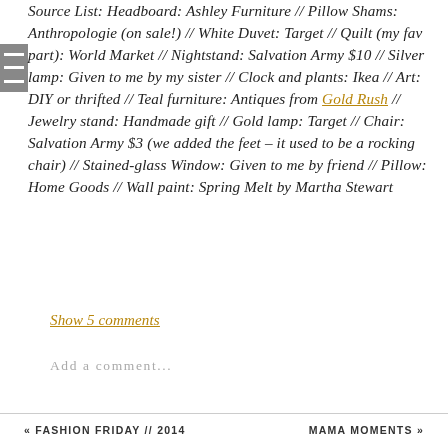Source List: Headboard: Ashley Furniture // Pillow Shams: Anthropologie (on sale!) // White Duvet: Target // Quilt (my fav part): World Market // Nightstand: Salvation Army $10 // Silver lamp: Given to me by my sister // Clock and plants: Ikea // Art: DIY or thrifted // Teal furniture: Antiques from Gold Rush // Jewelry stand: Handmade gift // Gold lamp: Target // Chair: Salvation Army $3 (we added the feet – it used to be a rocking chair) // Stained-glass Window: Given to me by friend // Pillow: Home Goods // Wall paint: Spring Melt by Martha Stewart
Show 5 comments
Add a comment...
« FASHION FRIDAY // 2014   MAMA MOMENTS »